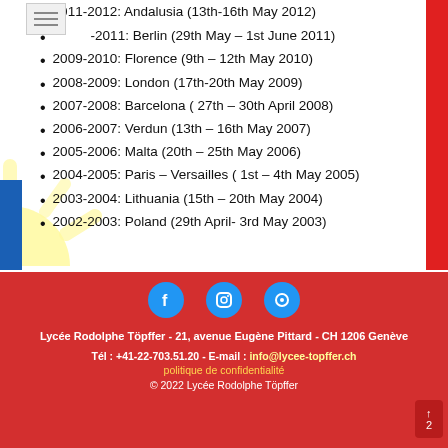2011-2012: Andalusia (13th-16th May 2012)
2010-2011: Berlin (29th May – 1st June 2011)
2009-2010: Florence (9th – 12th May 2010)
2008-2009: London (17th-20th May 2009)
2007-2008: Barcelona ( 27th – 30th April 2008)
2006-2007: Verdun (13th – 16th May 2007)
2005-2006: Malta (20th – 25th May 2006)
2004-2005: Paris – Versailles ( 1st – 4th May 2005)
2003-2004: Lithuania (15th – 20th May 2004)
2002-2003: Poland (29th April- 3rd May 2003)
Lycée Rodolphe Töpffer - 21, avenue Eugène Pittard - CH 1206 Genève
Tél : +41-22-703.51.20 - E-mail : info@lycee-topffer.ch
politique de confidentialité
© 2022 Lycée Rodolphe Töpffer